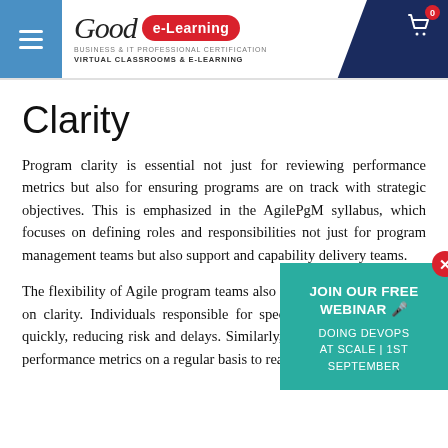Good e-Learning — BUSINESS & IT PROFESSIONAL CERTIFICATION — VIRTUAL CLASSROOMS & E-LEARNING
Clarity
Program clarity is essential not just for reviewing performance metrics but also for ensuring programs are on track with strategic objectives. This is emphasized in the AgilePgM syllabus, which focuses on defining roles and responsibilities not just for program management teams but also support and capability delivery teams.
The flexibility of Agile program teams also allows them to capitalize on clarity. Individuals responsible for specific issues can respond quickly, reducing risk and delays. Similarly, Agile teams can review performance metrics on a regular basis to reassess
[Figure (infographic): JOIN OUR FREE WEBINAR popup banner — DOING DEVOPS AT SCALE | 1ST SEPTEMBER — teal background with close button]